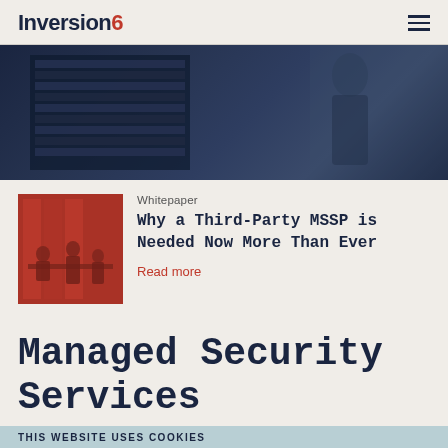Inversion6
[Figure (photo): Dark photo of a server room / data center with rack equipment, blue-gray tones]
Whitepaper
[Figure (photo): Red-tinted thumbnail photo of people sitting around a table in an office or meeting room]
Why a Third-Party MSSP is Needed Now More Than Ever
Read more
Managed Security Services
THIS WEBSITE USES COOKIES